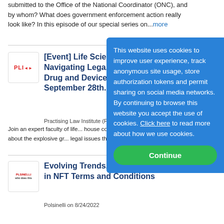submitted to the Office of the National Coordinator (ONC), and by whom? What does government enforcement action really look like? In this episode of our special series on...more
[Figure (logo): PLI logo - red text on white background with border]
[Event] Life Sciences: Navigating Legal Drug and Device September 28th
Practising Law Institute (PL...
Join an expert faculty of life... house counsel, government... learn about the explosive gr... legal issues that come with i...
[Figure (logo): Polsinelli logo - small text logo on white background with border]
Evolving Trends in NFT Terms and Conditions
Polsinelli on 8/24/2022
[Figure (other): Cookie consent overlay with blue background. Text: This website uses cookies to improve user experience, track anonymous site usage, store authorization tokens and permit sharing on social media networks. By continuing to browse this website you accept the use of cookies. Click here to read more about how we use cookies. Green Continue button at bottom.]